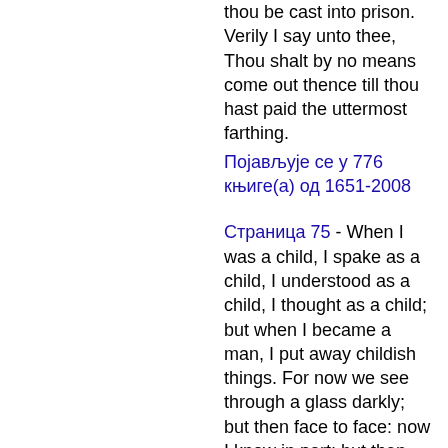thou be cast into prison. Verily I say unto thee, Thou shalt by no means come out thence till thou hast paid the uttermost farthing.
Појављује се у 776 књиге(а) од 1651-2008
Страница 75 - When I was a child, I spake as a child, I understood as a child, I thought as a child; but when I became a man, I put away childish things. For now we see through a glass darkly; but then face to face: now I know in part; but then shall I know even as also I am known.
Појављује се у 490